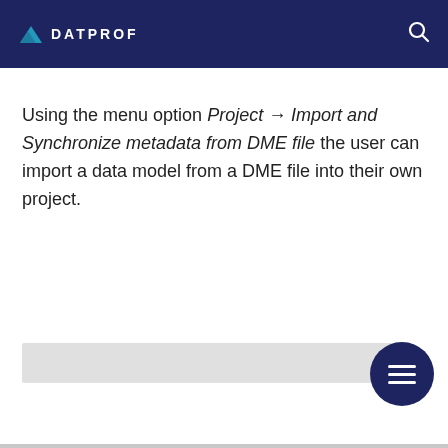DATPROF
Using the menu option Project → Import and Synchronize metadata from DME file the user can import a data model from a DME file into their own project.